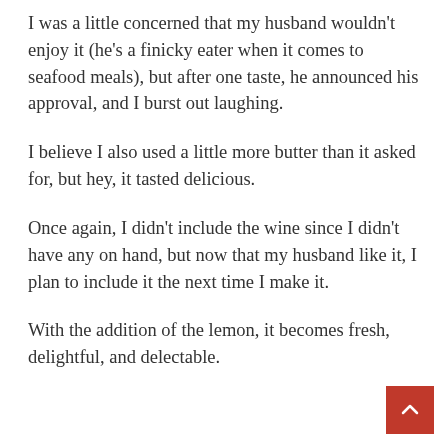I was a little concerned that my husband wouldn't enjoy it (he's a finicky eater when it comes to seafood meals), but after one taste, he announced his approval, and I burst out laughing.
I believe I also used a little more butter than it asked for, but hey, it tasted delicious.
Once again, I didn't include the wine since I didn't have any on hand, but now that my husband like it, I plan to include it the next time I make it.
With the addition of the lemon, it becomes fresh, delightful, and delectable.